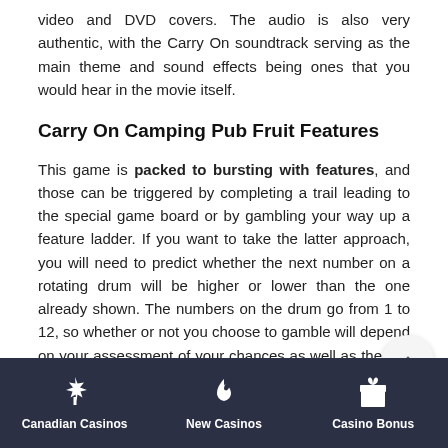video and DVD covers. The audio is also very authentic, with the Carry On soundtrack serving as the main theme and sound effects being ones that you would hear in the movie itself.
Carry On Camping Pub Fruit Features
This game is packed to bursting with features, and those can be triggered by completing a trail leading to the special game board or by gambling your way up a feature ladder. If you want to take the latter approach, you will need to predict whether the next number on a rotating drum will be higher or lower than the one already shown. The numbers on the drum go from 1 to 12, so whether or not you choose to gamble will depend on your assessment of your chances as well as the risk involved.
Collect three hearts as you travel around the game board and you will earn yourself an extra life, which should give you a bit of confidence to play on for bigger and better prizes. The features that
Canadian Casinos   New Casinos   Casino Bonus